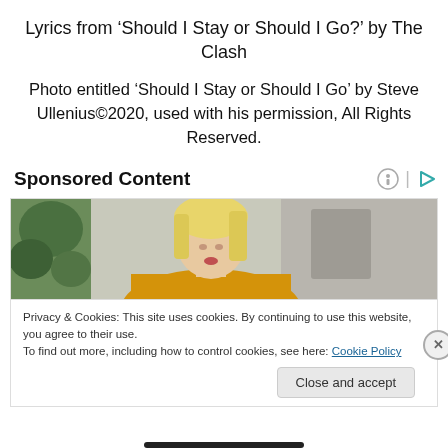Lyrics from ‘Should I Stay or Should I Go?’ by The Clash
Photo entitled ‘Should I Stay or Should I Go’ by Steve Ullenius©2020, used with his permission, All Rights Reserved.
Sponsored Content
[Figure (photo): Woman with blonde hair wearing a yellow sweater, looking downward, with green plants and grey background]
Privacy & Cookies: This site uses cookies. By continuing to use this website, you agree to their use.
To find out more, including how to control cookies, see here: Cookie Policy
Close and accept